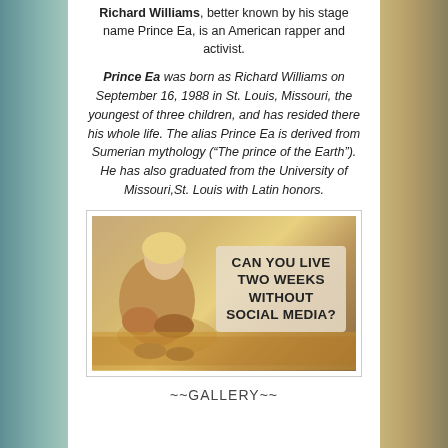Richard Williams, better known by his stage name Prince Ea, is an American rapper and activist.
Prince Ea was born as Richard Williams on September 16, 1988 in St. Louis, Missouri, the youngest of three children, and has resided there his whole life. The alias Prince Ea is derived from Sumerian mythology (“The prince of the Earth”). He has also graduated from the University of Missouri,St. Louis with Latin honors.
[Figure (photo): Photo of a person sitting curled up on autumn leaves with overlaid text reading 'CAN YOU LIVE TWO WEEKS WITHOUT SOCIAL MEDIA?']
~~GALLERY~~